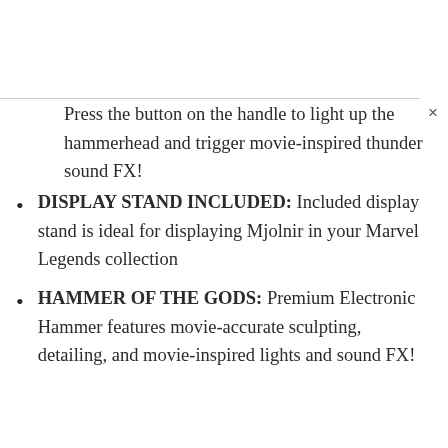Press the button on the handle to light up the hammerhead and trigger movie-inspired thunder sound FX!
DISPLAY STAND INCLUDED: Included display stand is ideal for displaying Mjolnir in your Marvel Legends collection
HAMMER OF THE GODS: Premium Electronic Hammer features movie-accurate sculpting, detailing, and movie-inspired lights and sound FX!